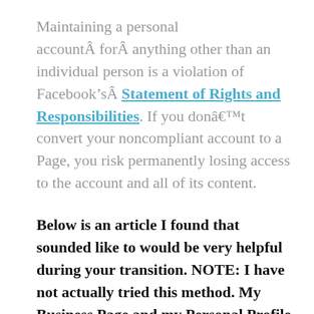Maintaining a personal accountÂ forÂ anything other than an individual person is a violation of Facebook’sÂ Statement of Rights and Responsibilities. If you donâ€™t convert your noncompliant account to a Page, you risk permanently losing access to the account and all of its content.
Below is an article I found that sounded like to would be very helpful during your transition. NOTE: I have not actually tried this method. My Business Page and my Personal Profile have always been separate.